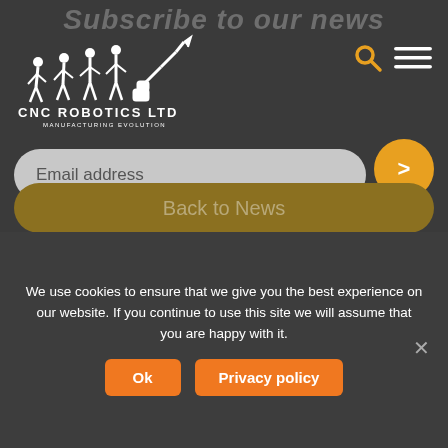Subscribe to our news
[Figure (logo): CNC Robotics Ltd logo — silhouetted evolution-of-man style figures ending in a robotic arm, with text 'CNC ROBOTICS LTD MANUFACTURING EVOLUTION']
Email address
Back to News
Share this
[Figure (logo): Insider North West MOST award logo]
We use cookies to ensure that we give you the best experience on our website. If you continue to use this site we will assume that you are happy with it.
Ok
Privacy policy